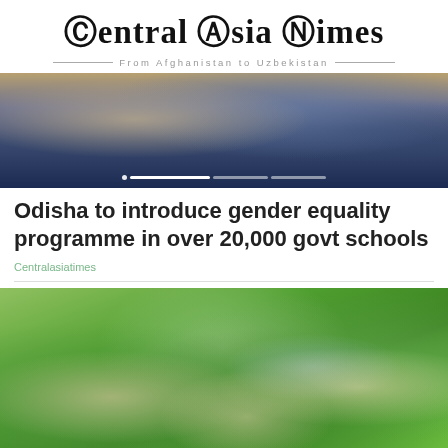Central Asia Times — From Afghanistan to Uzbekistan
[Figure (photo): Students studying in a classroom, one wearing a face mask, with books and boxes visible]
Odisha to introduce gender equality programme in over 20,000 govt schools
Centralasiatimes
[Figure (photo): Group of young women lying on grass, smiling and laughing, wearing sunglasses and summer clothes]